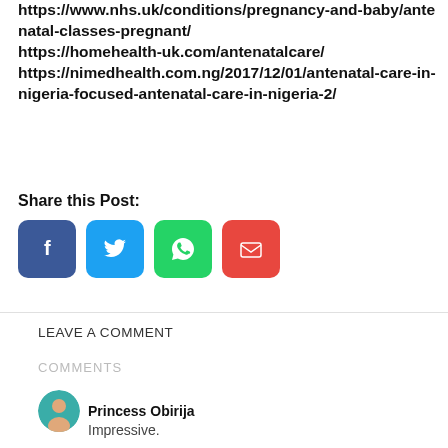https://www.nhs.uk/conditions/pregnancy-and-baby/antenatal-classes-pregnant/ https://homehealth-uk.com/antenatalcare/ https://nimedhealth.com.ng/2017/12/01/antenatal-care-in-nigeria-focused-antenatal-care-in-nigeria-2/
Share this Post:
[Figure (infographic): Four social sharing buttons: Facebook (blue), Twitter (light blue), WhatsApp (green), Email (red)]
LEAVE A COMMENT
COMMENTS
Princess Obirija
Impressive.